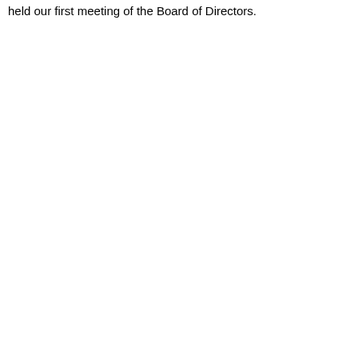held our first meeting of the Board of Directors.